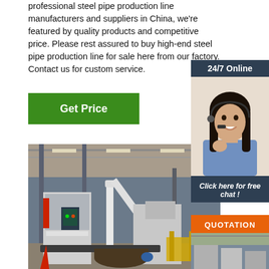professional steel pipe production line manufacturers and suppliers in China, we're featured by quality products and competitive price. Please rest assured to buy high-end steel pipe production line for sale here from our factory. Contact us for custom service.
[Figure (other): Green 'Get Price' button]
[Figure (photo): Factory floor with steel pipe production machinery, large industrial hall with equipment and steel tubes]
[Figure (other): Sidebar widget: '24/7 Online' dark blue banner, female customer service agent with headset, 'Click here for free chat!' text, orange QUOTATION button, and secondary factory image]